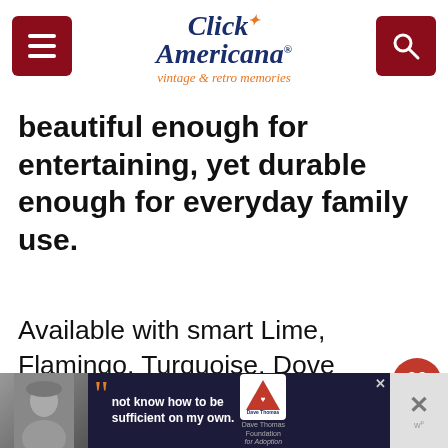Click Americana — vintage & retro memories
beautiful enough for entertaining, yet durable enough for everyday family use.
Available with smart Lime, Flamingo, Turquoise, Dove Gray, Regency Green or Royal Burgundy borders banded in 22-carat gold for only $9.95. (Starter sets in first four colors, without gold bands, only $6.95.)
[Figure (screenshot): Ad banner at bottom: man in beanie with Dave Thomas Foundation for Adoption ad, quote text 'not know how to be sufficient on my own.']